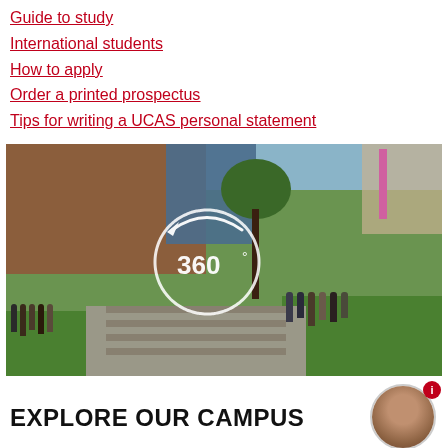Guide to study
International students
How to apply
Order a printed prospectus
Tips for writing a UCAS personal statement
[Figure (photo): Campus outdoor photo showing students walking around a university campus with a brick building and trees. A 360° interactive tour icon (circle with arrow and text '360°') is overlaid in the center of the image.]
EXPLORE OUR CAMPUS